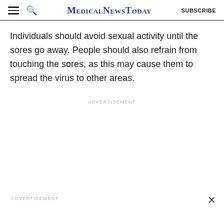MedicalNewsToday | SUBSCRIBE
Individuals should avoid sexual activity until the sores go away. People should also refrain from touching the sores, as this may cause them to spread the virus to other areas.
ADVERTISEMENT
ADVERTISEMENT